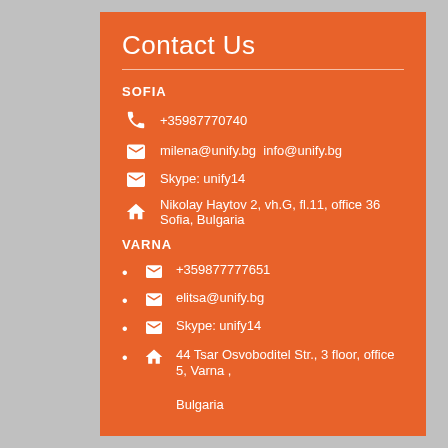Contact Us
SOFIA
+35987770740
milena@unify.bg  info@unify.bg
Skype: unify14
Nikolay Haytov 2, vh.G, fl.11, office 36 Sofia, Bulgaria
VARNA
+359877777651
elitsa@unify.bg
Skype: unify14
44 Tsar Osvoboditel Str., 3 floor, office 5, Varna , Bulgaria